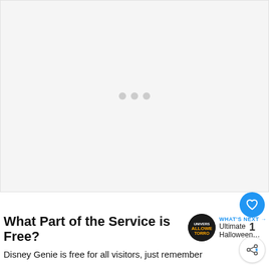[Figure (other): Advertisement placeholder area with three loading dots centered on a light gray background]
What Part of the Service is Free?
Disney Genie is free for all visitors, just remember